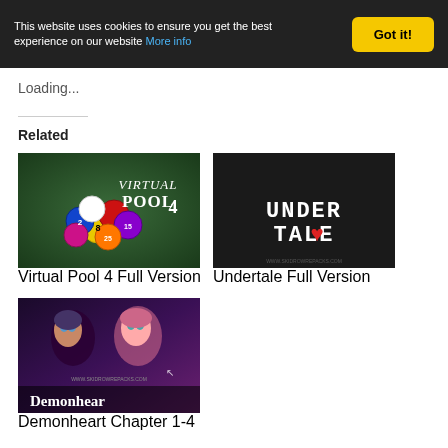This website uses cookies to ensure you get the best experience on our website More info  Got it!
Loading...
Related
[Figure (screenshot): Virtual Pool 4 game cover art showing billiard balls with text 'Virtual Pool 4']
Virtual Pool 4 Full Version
[Figure (screenshot): Undertale game logo on black background with text 'UNDERTALE' and watermark www.skidrowrepacks.com]
Undertale Full Version
[Figure (screenshot): Demonheart Chapter 1-4 game cover art showing fantasy characters with text 'Demonhear' visible]
Demonheart Chapter 1-4